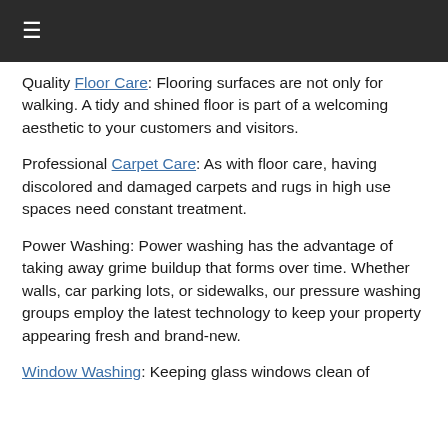≡
Quality Floor Care: Flooring surfaces are not only for walking. A tidy and shined floor is part of a welcoming aesthetic to your customers and visitors.
Professional Carpet Care: As with floor care, having discolored and damaged carpets and rugs in high use spaces need constant treatment.
Power Washing: Power washing has the advantage of taking away grime buildup that forms over time. Whether walls, car parking lots, or sidewalks, our pressure washing groups employ the latest technology to keep your property appearing fresh and brand-new.
Window Washing: Keeping glass windows clean of